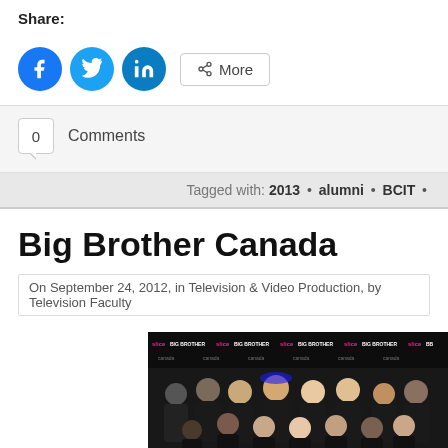Share:
[Figure (screenshot): Social share buttons: Facebook (blue circle), Twitter (blue circle), LinkedIn (dark teal circle), and a 'More' button with share icon]
0  Comments
Tagged with: 2013 • alumni • BCIT •
Big Brother Canada
On September 24, 2012, in Television & Video Production, by Television Faculty
[Figure (photo): Group photo of students wearing Big Brother Canada black t-shirts, standing in front of a Big Brother Canada branded backdrop with Slice network logos]